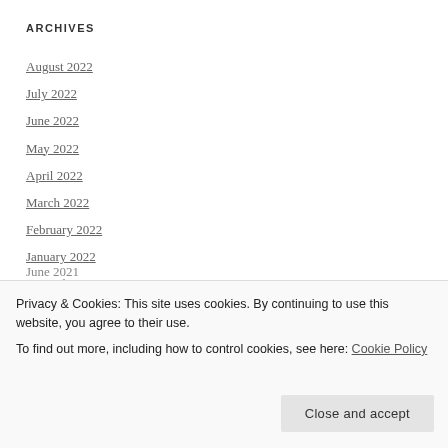ARCHIVES
August 2022
July 2022
June 2022
May 2022
April 2022
March 2022
February 2022
January 2022
December 2021
June 2021
Privacy & Cookies: This site uses cookies. By continuing to use this website, you agree to their use.
To find out more, including how to control cookies, see here: Cookie Policy